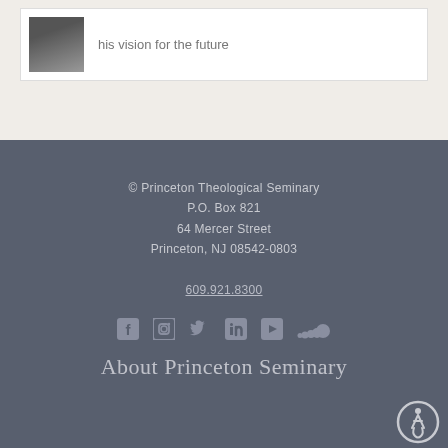[Figure (photo): Partial view of a person's portrait photo in grayscale, with text 'his vision for the future' next to it]
his vision for the future
© Princeton Theological Seminary
P.O. Box 821
64 Mercer Street
Princeton, NJ 08542-0803

609.921.8300
[Figure (infographic): Social media icons: Facebook, Instagram, Twitter, LinkedIn, YouTube, SoundCloud]
[Figure (logo): Accessibility logo — person in wheelchair inside a circle]
About Princeton Seminary